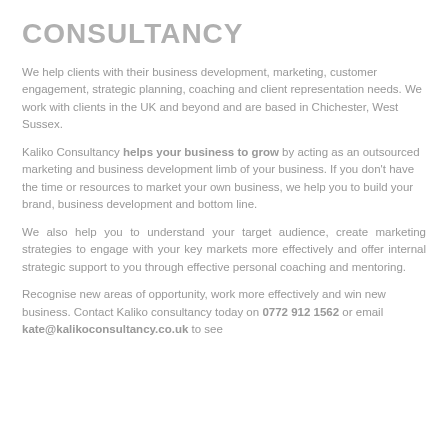CONSULTANCY
We help clients with their business development, marketing, customer engagement, strategic planning, coaching and client representation needs. We work with clients in the UK and beyond and are based in Chichester, West Sussex.
Kaliko Consultancy helps your business to grow by acting as an outsourced marketing and business development limb of your business. If you don't have the time or resources to market your own business, we help you to build your brand, business development and bottom line.
We also help you to understand your target audience, create marketing strategies to engage with your key markets more effectively and offer internal strategic support to you through effective personal coaching and mentoring.
Recognise new areas of opportunity, work more effectively and win new business. Contact Kaliko consultancy today on 0772 912 1562 or email kate@kalikoconsultancy.co.uk to see